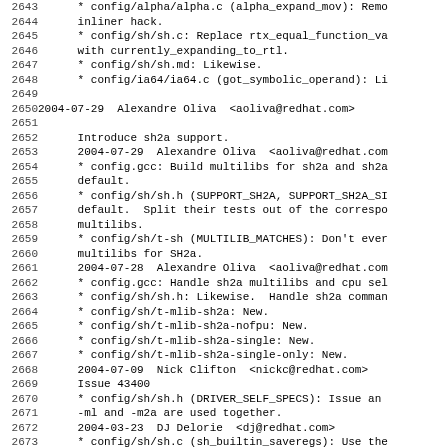2643  * config/alpha/alpha.c (alpha_expand_mov): Remo
2644        inliner hack.
2645        * config/sh/sh.c: Replace rtx_equal_function_va
2646        with currently_expanding_to_rtl.
2647        * config/sh/sh.md: Likewise.
2648        * config/ia64/ia64.c (got_symbolic_operand): Li
2649
2650 2004-07-29  Alexandre Oliva  <aoliva@redhat.com>
2651
2652        Introduce sh2a support.
2653        2004-07-29  Alexandre Oliva  <aoliva@redhat.com
2654        * config.gcc: Build multilibs for sh2a and sh2a
2655        default.
2656        * config/sh/sh.h (SUPPORT_SH2A, SUPPORT_SH2A_SI
2657        default.  Split their tests out of the correspo
2658        multilibs.
2659        * config/sh/t-sh (MULTILIB_MATCHES): Don't ever
2660        multilibs for SH2a.
2661        2004-07-28  Alexandre Oliva  <aoliva@redhat.com
2662        * config.gcc: Handle sh2a multilibs and cpu sel
2663        * config/sh/sh.h: Likewise.  Handle sh2a comman
2664        * config/sh/t-mlib-sh2a: New.
2665        * config/sh/t-mlib-sh2a-nofpu: New.
2666        * config/sh/t-mlib-sh2a-single: New.
2667        * config/sh/t-mlib-sh2a-single-only: New.
2668        2004-07-09  Nick Clifton  <nickc@redhat.com>
2669        Issue 43400
2670        * config/sh/sh.h (DRIVER_SELF_SPECS): Issue an
2671        -ml and -m2a are used together.
2672        2004-03-23  DJ Delorie  <dj@redhat.com>
2673        * config/sh/sh.c (sh_builtin_saveregs): Use the
2674        when we have a double-sized FPU.